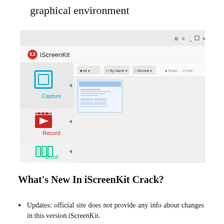graphical environment
[Figure (screenshot): iScreenKit application window showing Capture, Record, and Scroll options in the left sidebar, with a thumbnail preview in the main content area. Window controls (settings, menu, minimize, maximize, close) visible in top right.]
What’s New In iScreenKit Crack?
Updates: official site does not provide any info about changes in this version iScreenKit.